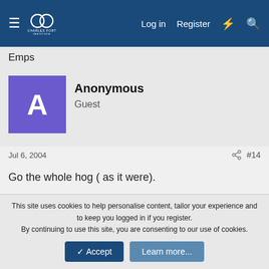Charles Fort Institute — Log in | Register
Emps
Anonymous
Guest
Jul 6, 2004  #14
Go the whole hog ( as it were).

Colossal squid

Deep frozen mammoth

Blue whale steaks
This site uses cookies to help personalise content, tailor your experience and to keep you logged in if you register.
By continuing to use this site, you are consenting to our use of cookies.